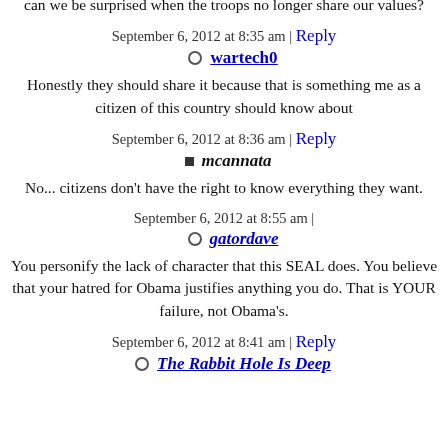can we be surprised when the troops no longer share our values?
September 6, 2012 at 8:35 am | Reply
wartech0
Honestly they should share it because that is something me as a citizen of this country should know about
September 6, 2012 at 8:36 am | Reply
mcannata
No... citizens don't have the right to know everything they want.
September 6, 2012 at 8:55 am |
gatordave
You personify the lack of character that this SEAL does. You believe that your hatred for Obama justifies anything you do. That is YOUR failure, not Obama's.
September 6, 2012 at 8:41 am | Reply
The Rabbit Hole Is Deep